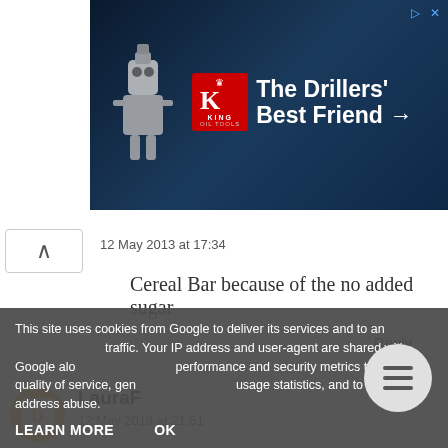[Figure (screenshot): King Oil Tools advertisement banner: 'The Drillers' Best Friend →' with orange K logo on dark blue background]
12 May 2013 at 17:34
Cereal Bar because of the no added sugar
LauraF
12 May 2013 at 21:51
The Yu Bars please!
13 May 2013 at 17:5
This site uses cookies from Google to deliver its services and to analyze traffic. Your IP address and user-agent are shared with Google along with performance and security metrics to ensure quality of service, generate usage statistics, and to detect and address abuse.
LEARN MORE
OK